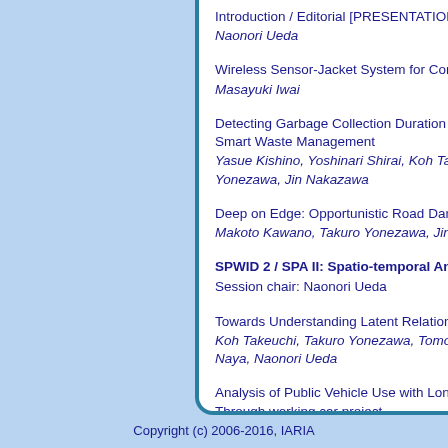Introduction / Editorial [PRESENTATION]
Naonori Ueda
Wireless Sensor-Jacket System for Constru...
Masayuki Iwai
Detecting Garbage Collection Duration Using... Smart Waste Management
Yasue Kishino, Yoshinari Shirai, Koh Takeu... Yonezawa, Jin Nakazawa
Deep on Edge: Opportunistic Road Damage...
Makoto Kawano, Takuro Yonezawa, Jin Na...
SPWID 2 / SPA II: Spatio-temporal Analys...
Session chair: Naonori Ueda
Towards Understanding Latent Relationship...
Koh Takeuchi, Takuro Yonezawa, Tomotaka... Naya, Naonori Ueda
Analysis of Public Vehicle Use with Long-te... Through working car project—
Mitsuaki Obara, Takehiro Kashiyama, Yoshi...
Open Discussion and Closing Remarks [DI...
Naonori Ueda
Copyright (c) 2006-2016, IARIA